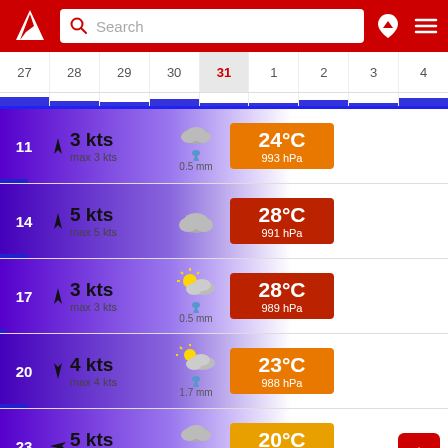Search bar with logo and navigation icons
| 27 | 28 | 29 | 30 | 31 | 1 | 2 | 3 | 4 |
| --- | --- | --- | --- | --- | --- | --- | --- | --- |
|  |  |  |  | today |  |  |  |  |
| Hour | Wind | Speed | Icon | Precipitation | Temperature | Pressure |
| --- | --- | --- | --- | --- | --- | --- |
| 11 | ► | 3 kts / max 3 kts | cloud+rain | 0.5 mm | 24°C | 993 hPa |
| 14 | ► | 5 kts / max 5 kts | cloud |  | 28°C | 991 hPa |
| 17 | ► | 3 kts / max 3 kts | partly sunny+rain | 0.5 mm | 28°C | 989 hPa |
| 20 | ▼ | 4 kts / max 4 kts | partly sunny+rain | 1.7 mm | 23°C | 988 hPa |
| 23 | ◄ | 5 kts / max 5 kts | cloud+heavy rain | 7.4 mm | 20°C | 989 hPa |